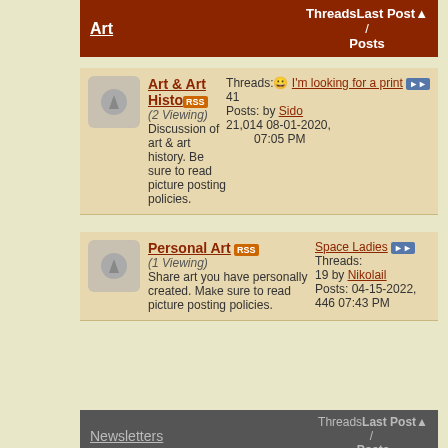Art | Threads / Last Post / Posts
| Forum | Threads/Posts | Last Post |
| --- | --- | --- |
| Art & Art History (2 Viewing) Discussion of art & art history. Be sure to read picture posting policies. | Threads: 41 Posts: 21,014 | I'm looking for a print by Sido 08-01-2020, 07:05 PM |
| Personal Art (1 Viewing) Share art you have personally created. Make sure to read picture posting policies. | Threads: 19 Posts: 446 | Space Ladies by Nikolail 04-15-2022, 07:43 PM |
Newsletters | Threads / Last Post / Posts
| Forum | Threads/Posts | Last Post |
| --- | --- | --- |
| Shakespeare's Sonnet-a-Day (2 Viewing) | Threads: 421 Posts: 545 | Sonnet #17 by Themisuel 12-28-2017, 07:56 PM |
| Balthasar Gracian The Art of Worldly Wisdom | Threads: 1,931 Posts: | Aphorism #96 The highest... |
This website uses cookies to ensure you get the best experience on our website. Learn more
Got it!